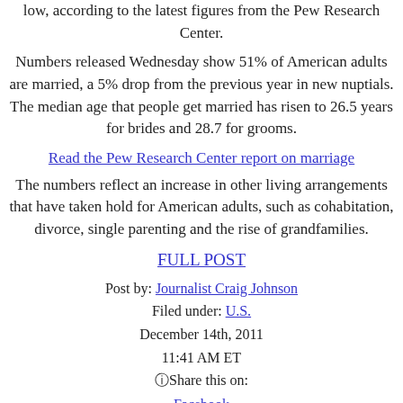low, according to the latest figures from the Pew Research Center.
Numbers released Wednesday show 51% of American adults are married, a 5% drop from the previous year in new nuptials. The median age that people get married has risen to 26.5 years for brides and 28.7 for grooms.
Read the Pew Research Center report on marriage
The numbers reflect an increase in other living arrangements that have taken hold for American adults, such as cohabitation, divorce, single parenting and the rise of grandfamilies.
FULL POST
Post by: Journalist Craig Johnson
Filed under: U.S.
December 14th, 2011
11:41 AM ET
Share this on:
Facebook
Twitter
Digg
del.icio.us
reddit
MySpace